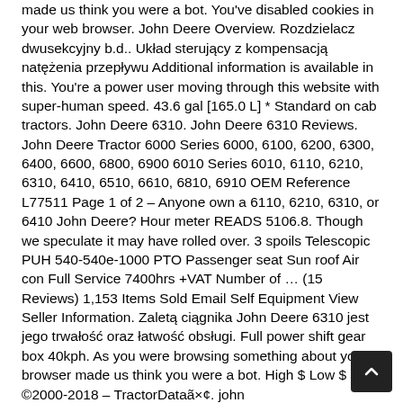made us think you were a bot. You've disabled cookies in your web browser. John Deere Overview. Rozdzielacz dwusekcyjny b.d.. Układ sterujący z kompensacją natężenia przepływu Additional information is available in this. You're a power user moving through this website with super-human speed. 43.6 gal [165.0 L] * Standard on cab tractors. John Deere 6310. John Deere 6310 Reviews. John Deere Tractor 6000 Series 6000, 6100, 6200, 6300, 6400, 6600, 6800, 6900 6010 Series 6010, 6110, 6210, 6310, 6410, 6510, 6610, 6810, 6910 OEM Reference L77511 Page 1 of 2 – Anyone own a 6110, 6210, 6310, or 6410 John Deere? Hour meter READS 5106.8. Though we speculate it may have rolled over. 3 spoils Telescopic PUH 540-540e-1000 PTO Passenger seat Sun roof Air con Full Service 7400hrs +VAT Number of … (15 Reviews) 1,153 Items Sold Email Self Equipment View Seller Information. Zaletą ciągnika John Deere 6310 jest jego trwałość oraz łatwość obsługi. Full power shift gear box 40kph. As you were browsing something about your browser made us think you were a bot. High $ Low $ ã×¡ ©2000-2018 – TractorDataã×¢. john